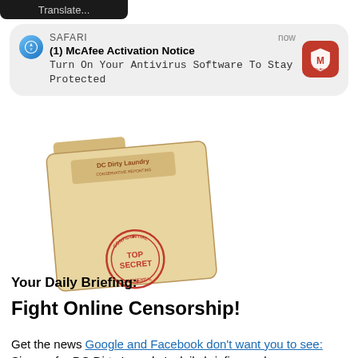[Figure (screenshot): Dark top bar with text 'Translate...' partially visible]
[Figure (screenshot): iOS Safari browser push notification card showing McAfee Activation Notice: '(1) McAfee Activation Notice - Turn On Your Antivirus Software To Stay Protected' with McAfee red icon, timestamp 'now']
[Figure (illustration): A manila folder with 'DC Dirty Laundry' logo at the top and a red TOP SECRET stamp at the bottom]
Your Daily Briefing:
Fight Online Censorship!
Get the news Google and Facebook don't want you to see: Sign up for DC Dirty Laundry's daily briefing and